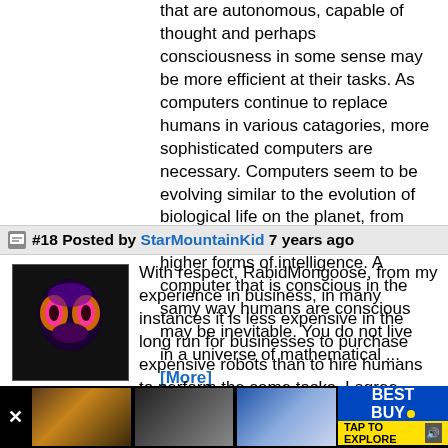that are autonomous, capable of thought and perhaps consciousness in some sense may be more efficient at their tasks. As computers continue to replace humans in various catagories, more sophisticated computers are necessary. Computers seem to be evolving similar to the evolution of biological life on the planet, from dumb machines to higher and higher forms of intelligence. A computer that is conscious in the samy way humans are conscious may be inevitable. You do not live in a universe of mathematical ... [More]
#18 Posted by StarMountainKid 7 years ago
[Figure (photo): User avatar showing a stylized brain scan or mask image with purple/orange colors on black background]
With respect, RabidMongoose, from my experience in business, in many instances it is less expensive in the long run for businesses to purchase expensive robots than to hire humans to perform the same tasks. I agree there will always be the need for human employees. However, as AI technology imporves, complex
[Figure (photo): Best Buy advertisement banner at the bottom with three product images and Best Buy logo with TAP TO EXPLORE text]